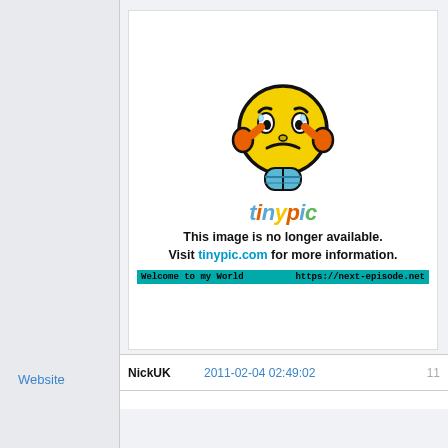[Figure (illustration): TinyPic broken image placeholder: a frustrated yellow smiley face character with orange hands on cheeks and blue shoes, with the TinyPic colorful logo text below it. Text reads: This image is no longer available. Visit tinypic.com for more information. Below is a teal/cyan bar with text: Welcome to my World and https://next-episode.net]
Website
NickUK   2011-02-04 02:49:02   11